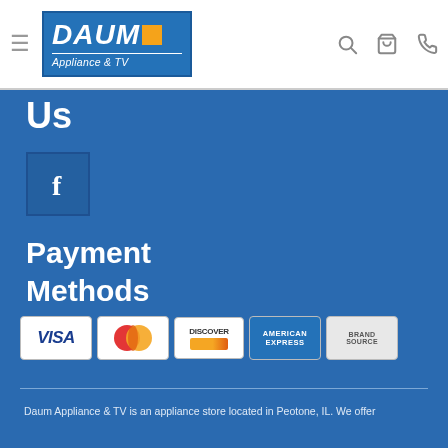[Figure (logo): Daum Appliance & TV logo — blue rectangular background with white italic DAUM text and orange square accent, white 'Appliance & TV' subtitle]
Us
[Figure (logo): Facebook icon — blue square with white F letter]
Payment Methods
[Figure (infographic): Row of payment method card logos: VISA, MasterCard, Discover, American Express, Brand Source]
Daum Appliance & TV is an appliance store located in Peotone, IL. We offer